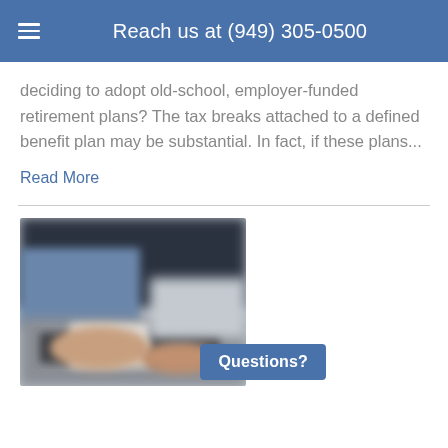Reach us at (949) 305-0500
deciding to adopt old-school, employer-funded retirement plans? The tax breaks attached to a defined benefit plan may be substantial. In fact, if these plans...
Read More
[Figure (photo): Blurred photo of a person in a dark suit working at a laptop keyboard, hands visible on keyboard, close-up shot.]
Questions?